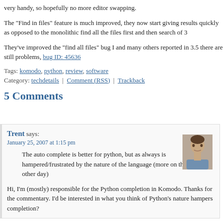very handy, so hopefully no more editor swapping.
The "Find in files" feature is much improved, they now start giving results quickly as opposed to the monolithic find all the files first and then search of 3
They've improved the "find all files" bug I and many others reported in 3.5 there are still problems, bug ID: 45636
Tags: komodo, python, review, software
Category: techdetails | Comment (RSS) | Trackback
5 Comments
Trent says:
January 25, 2007 at 1:15 pm
The auto complete is better for python, but as always is hampered/frustrated by the nature of the language (more on this some other day)
Hi, I'm (mostly) responsible for the Python completion in Komodo. Thanks for the commentary. I'd be interested in what you think of Python's nature hampers completion?